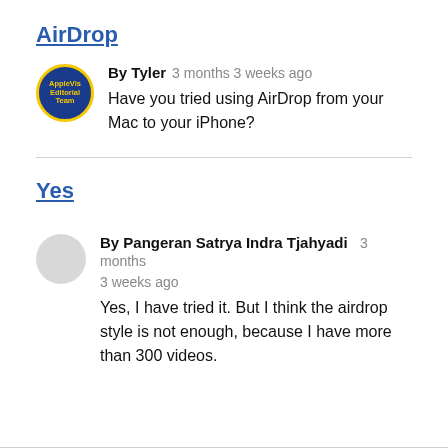AirDrop
By Tyler   3 months 3 weeks ago
Have you tried using AirDrop from your Mac to your iPhone?
Yes
By Pangeran Satrya Indra Tjahyadi   3 months 3 weeks ago
Yes, I have tried it. But I think the airdrop style is not enough, because I have more than 300 videos.